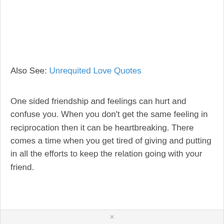Also See: Unrequited Love Quotes
One sided friendship and feelings can hurt and confuse you. When you don’t get the same feeling in reciprocation then it can be heartbreaking. There comes a time when you get tired of giving and putting in all the efforts to keep the relation going with your friend.